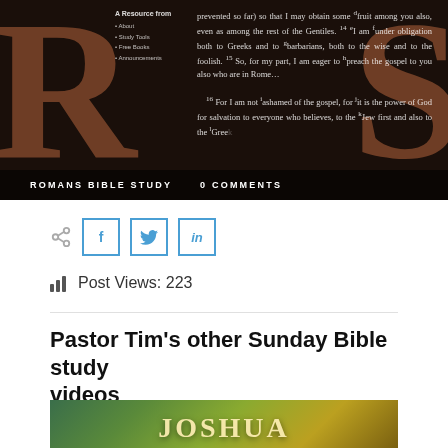[Figure (screenshot): Romans Bible Study hero banner with large stylized R and S letters on dark background, Bible text overlay, and navigation sidebar]
prevented so far) so that I may obtain some fruit among you also, even as among the rest of the Gentiles. 14 I am under obligation both to Greeks and to barbarians, both to the wise and to the foolish. 15 So, for my part, I am eager to preach the gospel to you also who are in Rome... 16 For I am not ashamed of the gospel, for it is the power of God for salvation to everyone who believes, to the Jew first and also to the Greek.
ROMANS BIBLE STUDY   0 COMMENTS
[Figure (infographic): Social share buttons row: share icon, Facebook button, Twitter button, LinkedIn button]
Post Views: 223
Pastor Tim's other Sunday Bible study videos
[Figure (photo): Joshua Bible study video thumbnail with golden text JOSHUA on green/golden background]